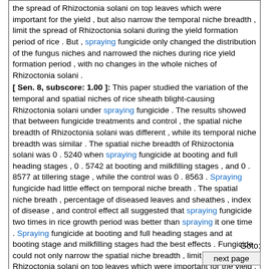the spread of Rhizoctonia solani on top leaves which were important for the yield , but also narrow the temporal niche breadth , limit the spread of Rhizoctonia solani during the yield formation period of rice . But , spraying fungicide only changed the distribution of the fungus niches and narrowed the niches during rice yield formation period , with no changes in the whole niches of Rhizoctonia solani . [ Sen. 8, subscore: 1.00 ]: This paper studied the variation of the temporal and spatial niches of rice sheath blight-causing Rhizoctonia solani under spraying fungicide . The results showed that between fungicide treatments and control , the spatial niche breadth of Rhizoctonia solani was different , while its temporal niche breadth was similar . The spatial niche breadth of Rhizoctonia solani was 0 . 5240 when spraying fungicide at booting and full heading stages , 0 . 5742 at booting and milkfilling stages , and 0 . 8577 at tillering stage , while the control was 0 . 8563 . Spraying fungicide had little effect on temporal niche breath . The spatial niche breath , percentage of diseased leaves and sheathes , index of disease , and control effect all suggested that spraying fungicide two times in rice growth period was better than spraying it one time . Spraying fungicide at booting and full heading stages and at booting stage and milkfilling stages had the best effects . Fungicide could not only narrow the spatial niche breadth , limit the spread of Rhizoctonia solani on top leaves which were important for the yield , but also narrow the temporal niche breadth , limit the spread of Rhizoctonia solani during the yield formation period of rice . But , spraying fungicide only changed the distribution of the fungus niches and narrowed the niches during rice yield formation period , with no changes in the whole niches of Rhizoctonia solani .
Goto: next page